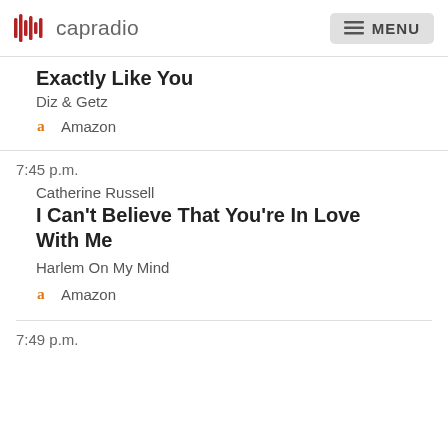capradio MENU
Exactly Like You
Diz & Getz
Amazon
7:45 p.m.
Catherine Russell
I Can't Believe That You're In Love With Me
Harlem On My Mind
Amazon
7:49 p.m.